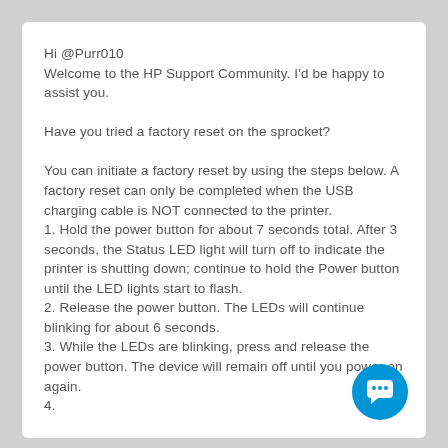Hi @Purr010
Welcome to the HP Support Community. I'd be happy to assist you.

Have you tried a factory reset on the sprocket?

You can initiate a factory reset by using the steps below. A factory reset can only be completed when the USB charging cable is NOT connected to the printer.
1. Hold the power button for about 7 seconds total. After 3 seconds, the Status LED light will turn off to indicate the printer is shutting down; continue to hold the Power button until the LED lights start to flash.
2. Release the power button. The LEDs will continue blinking for about 6 seconds.
3. While the LEDs are blinking, press and release the power button. The device will remain off until you power on again.
4. ...